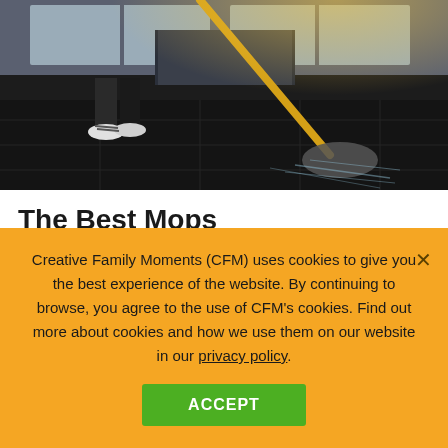[Figure (photo): Person mopping a reflective dark tile floor near glass doors, yellow mop handle visible]
The Best Mops
Lauren Corona
Updated: September 27, 2020
Creative Family Moments (CFM) uses cookies to give you the best experience of the website. By continuing to browse, you agree to the use of CFM's cookies. Find out more about cookies and how we use them on our website in our privacy policy.